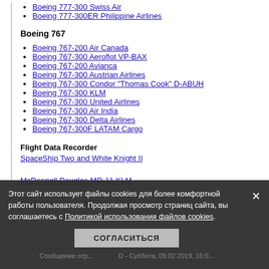Boeing 777-300 Swiss Air
Boeing 777-300ER Philippine Airlines
Boeing 767
Boeing 767-200 Air Canada
Boeing 767-300 Aeroflot VP-BAX
Boeing 767-200 Avianca
Boeing 767-300 Austrian Airlines
Boeing 767-300 Condor "Thomas Cook" D-ABUH
Boeing 767-300 KLM
Boeing 767-300 United Airlines
Boeing 767-300 Air India
Boeing 767-300 Delta Airlines
Boeing 767-300F LATAM Cargo
Flight Data Recorder
SpaceShip Two and White Knight II
McDonnell Douglas MD-11 KLM
McDonnell Douglas MD-11 Martinair Cargo
McDonnell Douglas MD-11 FEDEX
McDonnell Douglas MD-11 Garuda Indonesia
Этот сайт использует файлы cookies для более комфортной работы пользователя. Продолжая просмотр страниц сайта, вы соглашаетесь с Политикой использования файлов cookies.
СОГЛАСИТЬСЯ
Сообщение отр... - Суббота, 09.02.2019, 16:0...